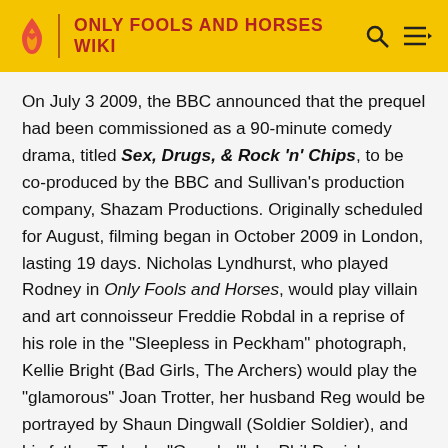ONLY FOOLS AND HORSES WIKI
On July 3 2009, the BBC announced that the prequel had been commissioned as a 90-minute comedy drama, titled Sex, Drugs, & Rock 'n' Chips, to be co-produced by the BBC and Sullivan's production company, Shazam Productions. Originally scheduled for August, filming began in October 2009 in London, lasting 19 days. Nicholas Lyndhurst, who played Rodney in Only Fools and Horses, would play villain and art connoisseur Freddie Robdal in a reprise of his role in the "Sleepless in Peckham" photograph, Kellie Bright (Bad Girls, The Archers) would play the "glamorous" Joan Trotter, her husband Reg would be portrayed by Shaun Dingwall (Soldier Soldier), and his father Ted, aka "Grandad", by Phil Daniels (Quadrophenia, EastEnders). James Buckley (The